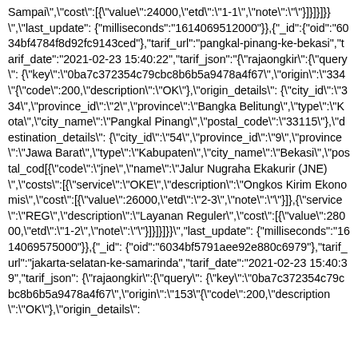Sampai","cost":[{"value":24000,"etd":"1-1","note":""}]}]}]}}","last_update":{"milliseconds":"1614069512000"},{"_id":{"oid":"6034bf4784f8d92fc9143ced"},"tarif_url":"pangkal-pinang-ke-bekasi","tarif_date":"2021-02-23 15:40:22","tarif_json":"{\"rajaongkir\":{\"query\":{\"key\":\"0ba7c372354c79cbc8b6b5a9478a4f67\",\"origin\":\"334\"{\"code\":200,\"description\":\"OK\"},\"origin_details\":{\"city_id\":\"334\",\"province_id\":\"2\",\"province\":\"Bangka Belitung\",\"type\":\"Kota\",\"city_name\":\"Pangkal Pinang\",\"postal_code\":\"33115\"},\"destination_details\":{\"city_id\":\"54\",\"province_id\":\"9\",\"province\":\"Jawa Barat\",\"type\":\"Kabupaten\",\"city_name\":\"Bekasi\",\"postal_cod[{\"code\":\"jne\",\"name\":\"Jalur Nugraha Ekakurir (JNE)\",\"costs\":[{\"service\":\"OKE\",\"description\":\"Ongkos Kirim Ekonomis\",\"cost\":[{\"value\":26000,\"etd\":\"2-3\",\"note\":\"\"}]},{\"service\":\"REG\",\"description\":\"Layanan Reguler\",\"cost\":[{\"value\":28000,\"etd\":\"1-2\",\"note\":\"\"}]}]}]}}","last_update":{"milliseconds":"1614069575000"},{"_id":{"oid":"6034bf5791aee92e880c6979"},"tarif_url":"jakarta-selatan-ke-samarinda","tarif_date":"2021-02-23 15:40:39","tarif_json":"{\"rajaongkir\":{\"query\":{\"key\":\"0ba7c372354c79cbc8b6b5a9478a4f67\",\"origin\":\"153\"{\"code\":200,\"description\":\"OK\"},\"origin_details\":